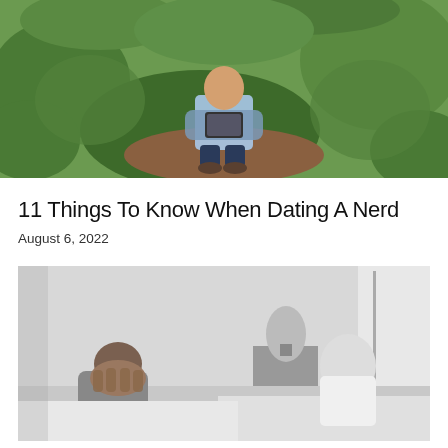[Figure (photo): A person crouching in lush green garden/farm foliage, holding a tablet device, wearing a light blue shirt and dark jeans]
11 Things To Know When Dating A Nerd
August 6, 2022
[Figure (photo): Black and white photo of a man sitting on a bed with his head in his hands in distress, while a woman sits facing away in the background in a bedroom setting]